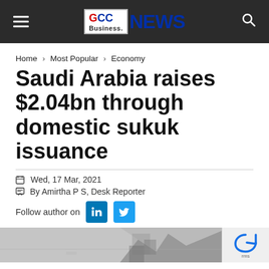GCC Business NEWS
Home › Most Popular › Economy
Saudi Arabia raises $2.04bn through domestic sukuk issuance
Wed, 17 Mar, 2021
By Amirtha P S, Desk Reporter
Follow author on
[Figure (photo): Bottom portion of a news article page with a partially visible photograph and a reCAPTCHA widget]